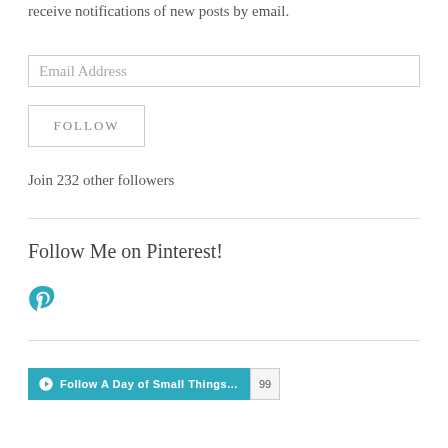receive notifications of new posts by email.
Email Address
FOLLOW
Join 232 other followers
Follow Me on Pinterest!
[Figure (logo): Pinterest logo icon in teal/blue color]
[Figure (infographic): WordPress Follow button bar with 'Follow A Day of Small Things...' text and count badge showing 99]